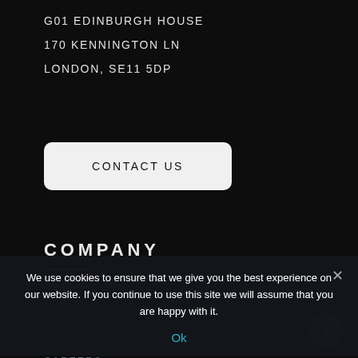G01 EDINBURGH HOUSE
170 KENNINGTON LN
LONDON, SE11 5DP
CONTACT US
COMPANY
PUBLISHING
SDK
BLOG
ABOUT US
CAREERS
We use cookies to ensure that we give you the best experience on our website. If you continue to use this site we will assume that you are happy with it.
Ok